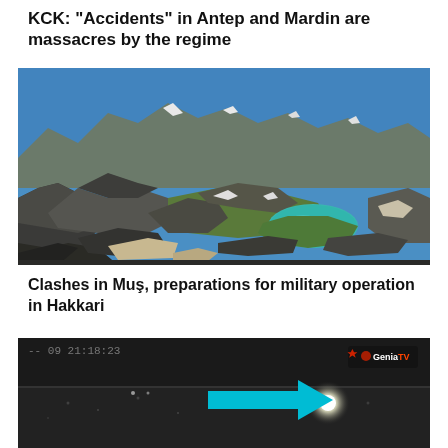KCK: "Accidents" in Antep and Mardin are massacres by the regime
[Figure (photo): Mountain landscape with rocky peaks, snow patches, and a turquoise alpine lake in the valley below, under a blue sky.]
Clashes in Muş, preparations for military operation in Hakkari
[Figure (photo): Grainy night-vision or low-light video still showing a dark road/ground with a bright light spot, a large cyan/blue arrow pointing right, and a GeniaTv logo watermark in the upper right corner. Timestamp partially visible at top.]